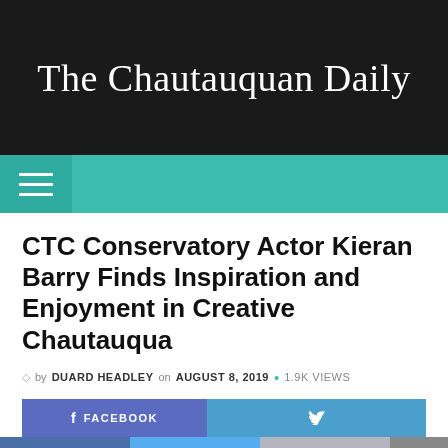The Chautauquan Daily
CTC Conservatory Actor Kieran Barry Finds Inspiration and Enjoyment in Creative Chautauqua
by DUARD HEADLEY on AUGUST 8, 2019 • 1.9K VIEWS